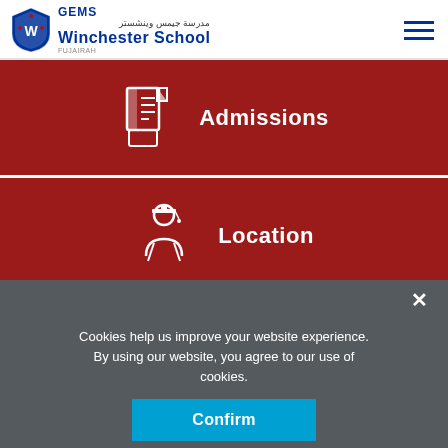[Figure (logo): GEMS Winchester School logo with shield and Arabic text]
[Figure (infographic): Three dark red menu sections: Admissions, Location, Enrol Online each with white icon]
Cookies help us improve your website experience. By using our website, you agree to our use of cookies.
Confirm